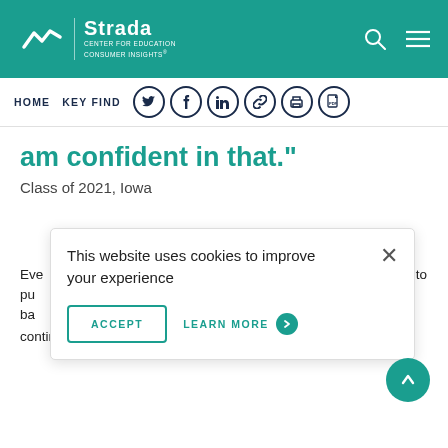Strada | CENTER FOR EDUCATION CONSUMER INSIGHTS
HOME  KEY FIND
am confident in that."
Class of 2021, Iowa
Conclusion
This website uses cookies to improve your experience
ACCEPT  LEARN MORE
Eve... s who decided not to pu... ty still want me ba... xtremely like continue their education in the future, while almost all are at least